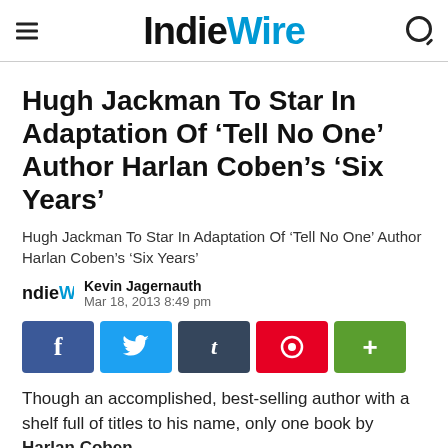IndieWire
Hugh Jackman To Star In Adaptation Of 'Tell No One' Author Harlan Coben's 'Six Years'
Hugh Jackman To Star In Adaptation Of 'Tell No One' Author Harlan Coben's 'Six Years'
Kevin Jagernauth
Mar 18, 2013 8:49 pm
[Figure (infographic): Social sharing buttons: Facebook (f), Twitter bird, Tumblr (t), Pinterest (circle with pin), More (+)]
Though an accomplished, best-selling author with a shelf full of titles to his name, only one book by Harlan Coben